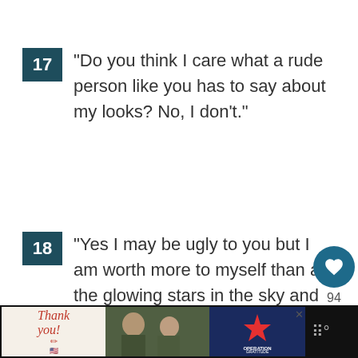17 “Do you think I care what a rude person like you has to say about my looks? No, I don’t.”
18 “Yes I may be ugly to you but I am worth more to myself than all the glowing stars in the sky and with a mouth like yours, you are definitely worth less than a pig’s dung, believe that!”
[Figure (screenshot): Bottom advertisement bar showing 'Thank you!' with US flag pencil, military photo, and Operation Gratitude logo on dark background. Also shows floating heart/like button (94 likes) and share button on right side.]